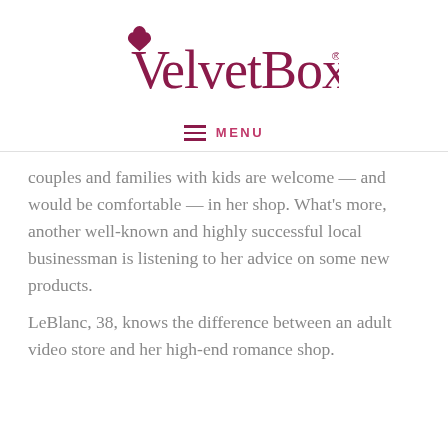[Figure (logo): VelvetBox logo with heart-shaped V and magenta/dark pink text]
≡ MENU
couples and families with kids are welcome — and would be comfortable — in her shop. What's more, another well-known and highly successful local businessman is listening to her advice on some new products.
LeBlanc, 38, knows the difference between an adult video store and her high-end romance shop.